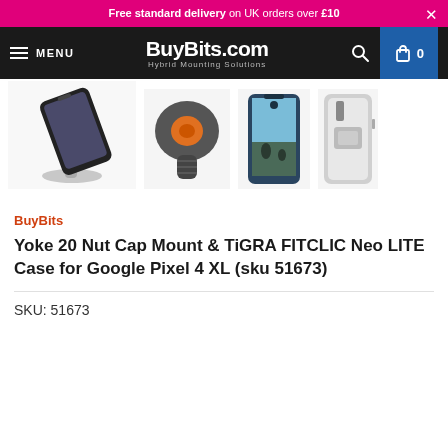Free standard delivery on UK orders over £10  ×
MENU  BuyBits.com Hybrid Mounting Solutions  [search] [cart] 0
[Figure (photo): Four product images: a smartphone mounted on a Yoke 20 Nut Cap Mount, a close-up of the magnetic mount head with orange center, a Google Pixel 4 XL phone case open/front view, and a Google Pixel 4 XL phone case back view.]
BuyBits
Yoke 20 Nut Cap Mount & TiGRA FITCLIC Neo LITE Case for Google Pixel 4 XL (sku 51673)
SKU: 51673